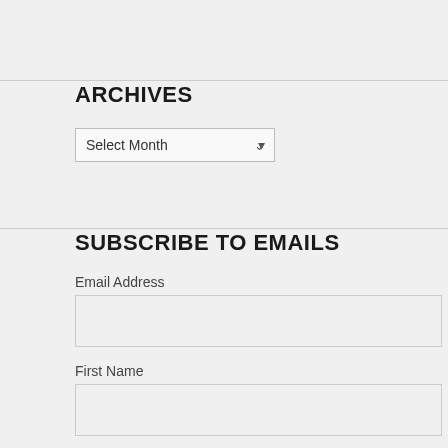ARCHIVES
Select Month
SUBSCRIBE TO EMAILS
Email Address
First Name
Last Name